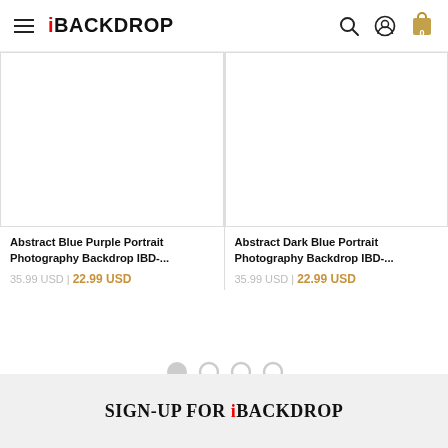iBACKDROP
[Figure (photo): Abstract Blue Purple Portrait Photography Backdrop product image placeholder (white rectangle with border)]
Abstract Blue Purple Portrait Photography Backdrop IBD-...
35.99 USD | 22.99 USD
[Figure (photo): Abstract Dark Blue Portrait Photography Backdrop product image placeholder (white rectangle with border)]
Abstract Dark Blue Portrait Photography Backdrop IBD-...
35.99 USD | 22.99 USD
[Figure (other): Pagination indicator: 4 circles, first filled/solid, remaining as outlines]
SIGN-UP FOR iBACKDROP